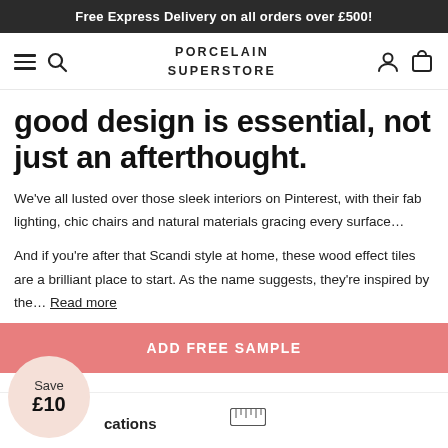Free Express Delivery on all orders over £500!
[Figure (screenshot): Porcelain Superstore navigation bar with hamburger menu, search icon, logo, account and cart icons]
good design is essential, not just an afterthought.
We've all lusted over those sleek interiors on Pinterest, with their fab lighting, chic chairs and natural materials gracing every surface...
And if you're after that Scandi style at home, these wood effect tiles are a brilliant place to start. As the name suggests, they're inspired by the... Read more
[Figure (other): ADD FREE SAMPLE button in coral/pink color]
Save £10
cations